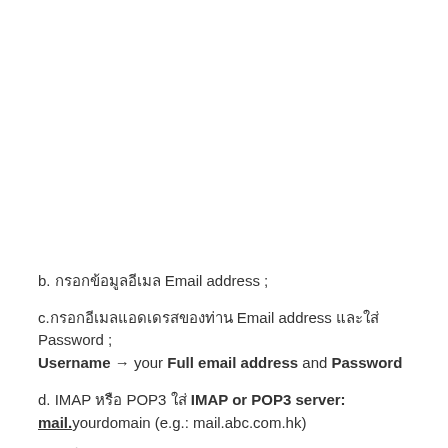b. กรอกข้อมูลอีเมล Email address ;
c.กรอกอีเมลแอดเดรสของท่าน Email address และใส่ Password ; Username → your Full email address and Password
d. IMAP หรือ POP3 ใส่ IMAP or POP3 server: mail.yourdomain (e.g.: mail.abc.com.hk)
กรอกใน Incoming server(IMAP) :